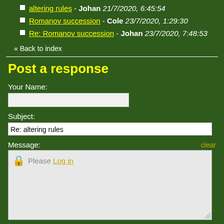altering rules - Johan 21/7/2020, 6:45:54
Romanov succession - Cole 23/7/2020, 1:29:30
Re: Romanov succession - Johan 23/7/2020, 7:48:53
« Back to index
Post a response
Your Name:
Subject:
Re: altering rules
Message:
clear
🔒 Please Log in